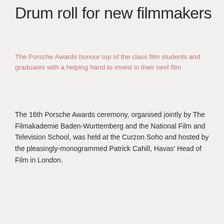Drum roll for new filmmakers
The Porsche Awards honour top of the class film students and graduates with a helping hand to invest in their next film
The 16th Porsche Awards ceremony, organised jointly by The Filmakademie Baden-Wurttemberg and the National Film and Television School, was held at the Curzon Soho and hosted by the pleasingly-monogrammed Patrick Cahill, Havas' Head of Film in London.